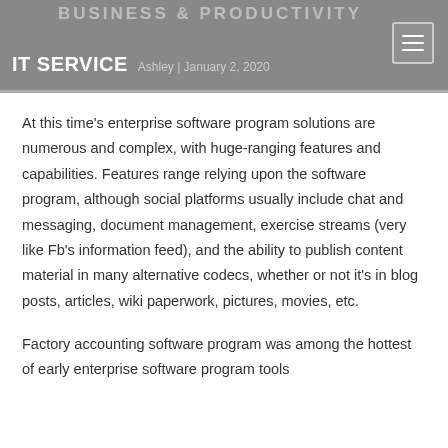BUSINESS & PRODUCTIVITY IT SERVICE | Ashley | January 2, 2020
At this time's enterprise software program solutions are numerous and complex, with huge-ranging features and capabilities. Features range relying upon the software program, although social platforms usually include chat and messaging, document management, exercise streams (very like Fb's information feed), and the ability to publish content material in many alternative codecs, whether or not it's in blog posts, articles, wiki paperwork, pictures, movies, etc.
Factory accounting software program was among the hottest of early enterprise software program tools